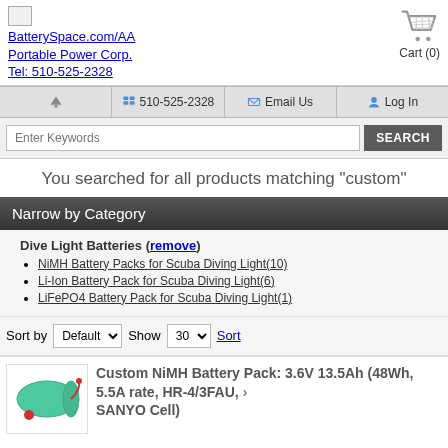BatterySpace.com/AA Portable Power Corp. Tel: 510-525-2328
510-525-2328  Email Us  Log In
Enter Keywords  SEARCH
You searched for all products matching "custom"
Narrow by Category
Dive Light Batteries (remove)
NiMH Battery Packs for Scuba Diving Light(10)
Li-Ion Battery Pack for Scuba Diving Light(6)
LiFePO4 Battery Pack for Scuba Diving Light(1)
Sort by Default  Show 30  Sort
Custom NiMH Battery Pack: 3.6V 13.5Ah (48Wh, 5.5A rate, HR-4/3FAU, SANYO Cell)